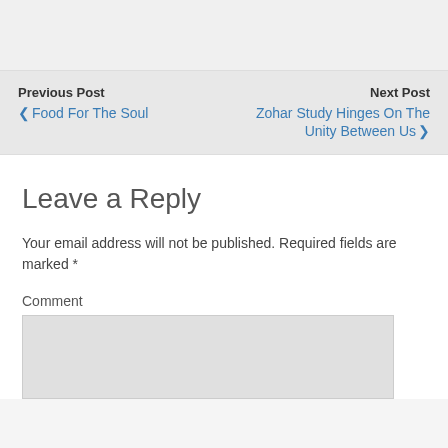Previous Post | Next Post
‹ Food For The Soul
Zohar Study Hinges On The Unity Between Us ›
Leave a Reply
Your email address will not be published. Required fields are marked *
Comment